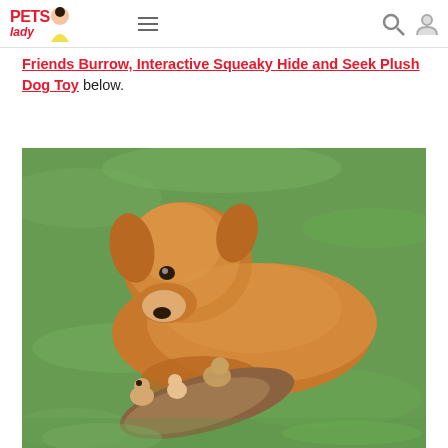Pets Lady website header with logo, hamburger menu, search icon, and user icon
Friends Burrow, Interactive Squeaky Hide and Seek Plush Dog Toy below.
[Figure (photo): A golden retriever dog lying on green grass, playing with a plush hide-and-seek burrow toy that has small animal stuffed figures.]